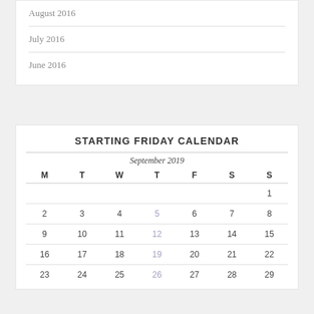August 2016
July 2016
June 2016
STARTING FRIDAY CALENDAR
| M | T | W | T | F | S | S |
| --- | --- | --- | --- | --- | --- | --- |
|  |  |  |  |  |  | 1 |
| 2 | 3 | 4 | 5 | 6 | 7 | 8 |
| 9 | 10 | 11 | 12 | 13 | 14 | 15 |
| 16 | 17 | 18 | 19 | 20 | 21 | 22 |
| 23 | 24 | 25 | 26 | 27 | 28 | 29 |